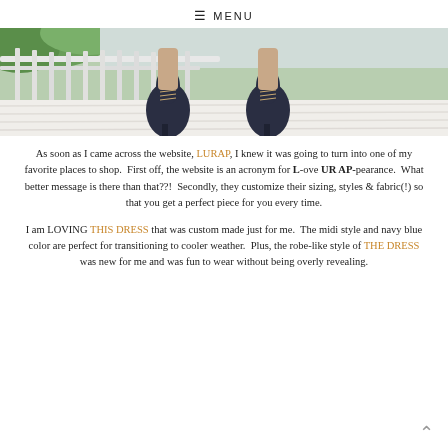≡ MENU
[Figure (photo): Cropped photo showing a person's legs wearing dark navy lace-up heeled shoes, standing on a white painted wooden deck/porch. Green foliage visible in background.]
As soon as I came across the website, LURAP, I knew it was going to turn into one of my favorite places to shop. First off, the website is an acronym for L-ove UR AP-pearance. What better message is there than that??! Secondly, they customize their sizing, styles & fabric(!) so that you get a perfect piece for you every time.
I am LOVING THIS DRESS that was custom made just for me. The midi style and navy blue color are perfect for transitioning to cooler weather. Plus, the robe-like style of THE DRESS was new for me and was fun to wear without being overly revealing.